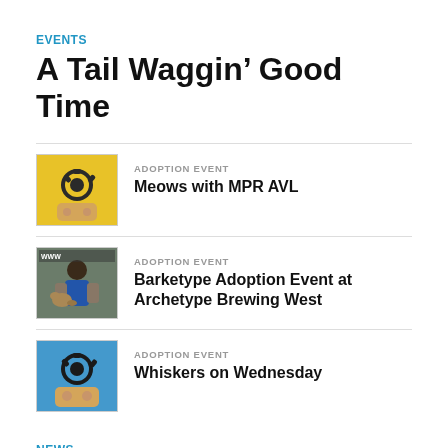EVENTS
A Tail Waggin’ Good Time
ADOPTION EVENT
Meows with MPR AVL
ADOPTION EVENT
Barketype Adoption Event at Archetype Brewing West
ADOPTION EVENT
Whiskers on Wednesday
NEWS
Happy Tails and More